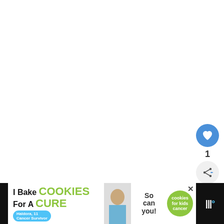[Figure (other): Like (heart) button — circular blue button with white heart icon]
1
[Figure (other): Share button — circular light grey button with share/network icon]
[Figure (other): What's Next card with Pokémon GO Teams logo image and text: WHAT'S NEXT → Which Pokémon G...]
[Figure (other): Advertisement banner: I Bake COOKIES For A CURE — Haldora, 11 Cancer Survivor — So can you! — cookies for kids cancer — close button × — Toolbelt logo on black background]